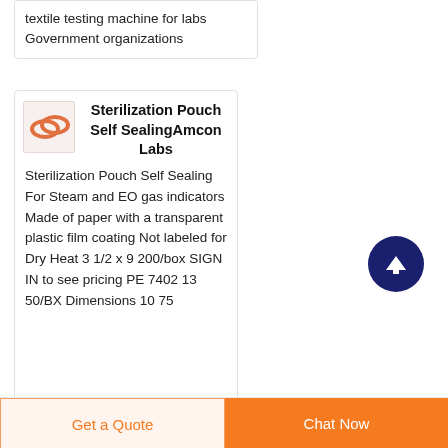textile testing machine for labs Government organizations
[Figure (photo): Small product thumbnail showing orange/copper colored rings or loops on a light background]
Sterilization Pouch Self SealingAmcon Labs
Sterilization Pouch Self Sealing For Steam and EO gas indicators Made of paper with a transparent plastic film coating Not labeled for Dry Heat 3 1/2 x 9 200/box SIGN IN to see pricing PE 7402 13 50/BX Dimensions 10 75
Get a Quote
Chat Now